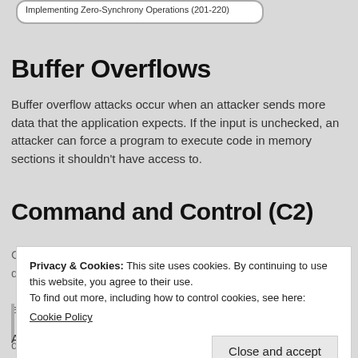Implementing Zero-Synchrony Operations (201-220)
Buffer Overflows
Buffer overflow attacks occur when an attacker sends more data that the application expects. If the input is unchecked, an attacker can force a program to execute code in memory sections it shouldn't have access to.
Command and Control (C2)
Privacy & Cookies: This site uses cookies. By continuing to use this website, you agree to their use.
To find out more, including how to control cookies, see here:
Cookie Policy
Close and accept
Malware
Any application used to attack a system. It could be a virus,